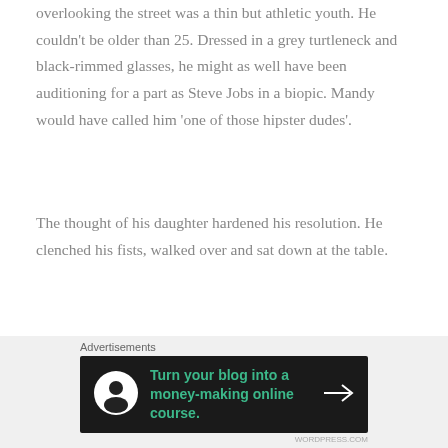overlooking the street was a thin but athletic youth. He couldn't be older than 25. Dressed in a grey turtleneck and black-rimmed glasses, he might as well have been auditioning for a part as Steve Jobs in a biopic. Mandy would have called him 'one of those hipster dudes'.
The thought of his daughter hardened his resolution. He clenched his fists, walked over and sat down at the table.
The guy didn't look up or make any indication that
Advertisements
[Figure (infographic): Dark advertisement banner: circular icon with person silhouette, teal text reading 'Turn your blog into a money-making online course.' with a right arrow.]